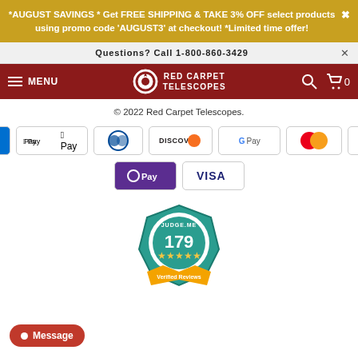*AUGUST SAVINGS * Get FREE SHIPPING & TAKE 3% OFF select products using promo code 'AUGUST3' at checkout! *Limited time offer!
Questions? Call 1-800-860-3429
[Figure (logo): Red Carpet Telescopes navigation bar with hamburger menu, logo, search and cart icons]
© 2022 Red Carpet Telescopes.
[Figure (infographic): Payment method icons: Amex, Apple Pay, Diners Club, Discover, Google Pay, Mastercard, PayPal, O Pay, Visa]
[Figure (infographic): Judge.me badge showing 179 verified reviews with 5 stars]
Message